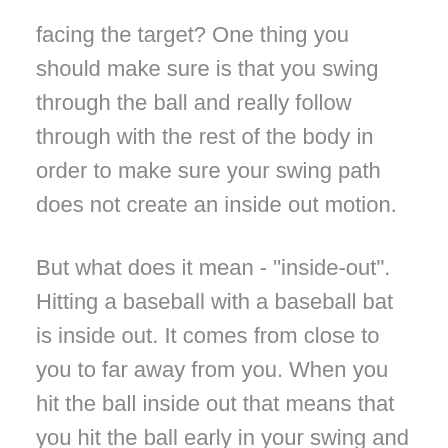facing the target? One thing you should make sure is that you swing through the ball and really follow through with the rest of the body in order to make sure your swing path does not create an inside out motion.
But what does it mean - "inside-out". Hitting a baseball with a baseball bat is inside out. It comes from close to you to far away from you. When you hit the ball inside out that means that you hit the ball early in your swing and that the clubface continues a little bit away from you in order to return around your body.
Make sure to try and hit the ball as the club face